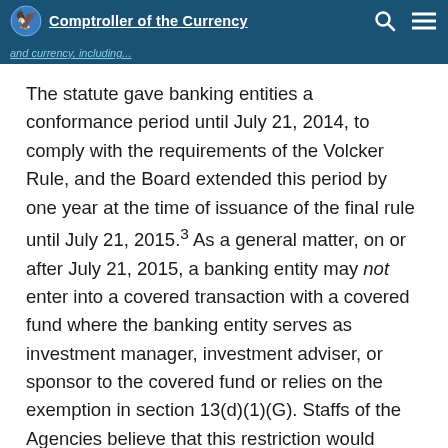Comptroller of the Currency
and currency, including...
The statute gave banking entities a conformance period until July 21, 2014, to comply with the requirements of the Volcker Rule, and the Board extended this period by one year at the time of issuance of the final rule until July 21, 2015.³ As a general matter, on or after July 21, 2015, a banking entity may not enter into a covered transaction with a covered fund where the banking entity serves as investment manager, investment adviser, or sponsor to the covered fund or relies on the exemption in section 13(d)(1)(G). Staffs of the Agencies believe that this restriction would apply to any increase in the amount of, extension of the maturity of, or